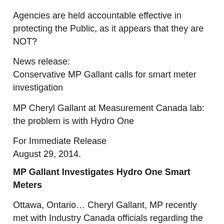Agencies are held accountable effective in protecting the Public, as it appears that they are NOT?
News release:
Conservative MP Gallant calls for smart meter investigation
MP Cheryl Gallant at Measurement Canada lab: the problem is with Hydro One
For Immediate Release
August 29, 2014.
MP Gallant Investigates Hydro One Smart Meters
Ottawa, Ontario… Cheryl Gallant, MP recently met with Industry Canada officials regarding the controversial Ontario Hydro One “smart meter” program. The meeting was a result of an investigation that was requested by the Renfrew-Nipissing-Pembroke MP due to the thousands of complaints